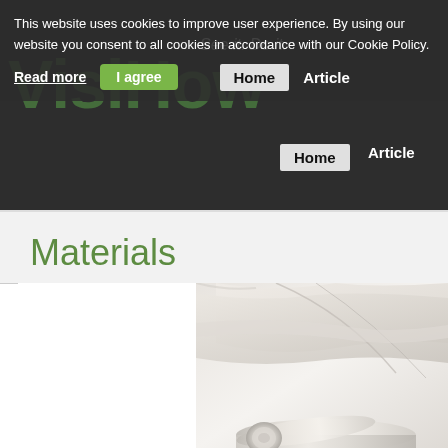[Figure (screenshot): VisiHow website header with logo showing green text 'VisiHow' and tagline 'See it. Do it.']
This website uses cookies to improve user experience. By using our website you consent to all cookies in accordance with our Cookie Policy.
Read more
I agree
Home
Article
Materials
[Figure (photo): Close-up photo of rolled and folded newspapers/paper materials on white background]